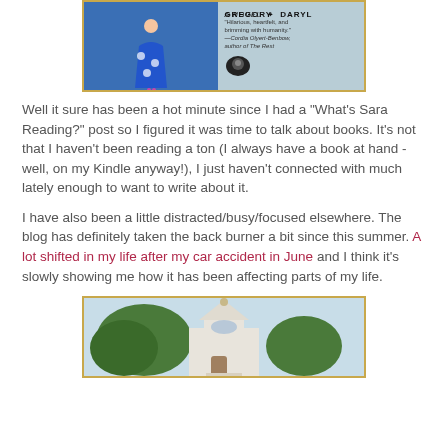[Figure (photo): Two book cover images side by side: left shows a woman in a blue floral dress, right shows a book cover reading 'A Novel by Daryl Gregory']
Well it sure has been a hot minute since I had a "What's Sara Reading?" post so I figured it was time to talk about books. It's not that I haven't been reading a ton (I always have a book at hand - well, on my Kindle anyway!), I just haven't connected with much lately enough to want to write about it.
I have also been a little distracted/busy/focused elsewhere. The blog has definitely taken the back burner a bit since this summer. A lot shifted in my life after my car accident in June and I think it's slowly showing me how it has been affecting parts of my life.
[Figure (photo): A white church building with a steeple, surrounded by green trees]